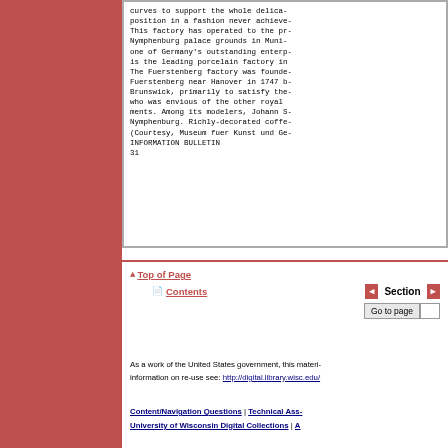curves to support the whole delicate position in a fashion never achieved. This factory has operated to the present on the Nymphenburg palace grounds in Munich, and is one of Germany's outstanding enterprises, still is the leading porcelain factory in Germany. The Fuerstenberg factory was founded at Fuerstenberg near Hanover in 1747 by the Duke of Brunswick, primarily to satisfy the Duke, who was envious of the other royal establishments. Among its modelers, Johann S... Nymphenburg. Richly-decorated coffee... (Courtesy, Museum fuer Kunst und Ge... INFORMATION BULLETIN 31
▲ Top of Page
📄 Contents
◀ Section ▶ Go to page
As a work of the United States government, this material... information on re-use see: http://digital.library.wisc.edu/
Content/Navigation Questions | Technical Assistance University of Wisconsin Digital Collections | A